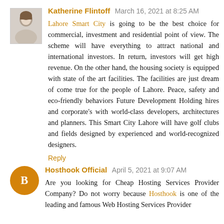Katherine Flintoff  March 16, 2021 at 8:25 AM
Lahore Smart City is going to be the best choice for commercial, investment and residential point of view. The scheme will have everything to attract national and international investors. In return, investors will get high revenue. On the other hand, the housing society is equipped with state of the art facilities. The facilities are just dream of come true for the people of Lahore. Peace, safety and eco-friendly behaviors Future Development Holding hires and corporate's with world-class developers, architectures and planners. This Smart City Lahore will have golf clubs and fields designed by experienced and world-recognized designers.
Reply
Hosthook Official  April 5, 2021 at 9:07 AM
Are you looking for Cheap Hosting Services Provider Company? Do not worry because Hosthook is one of the leading and famous Web Hosting Services Provider...